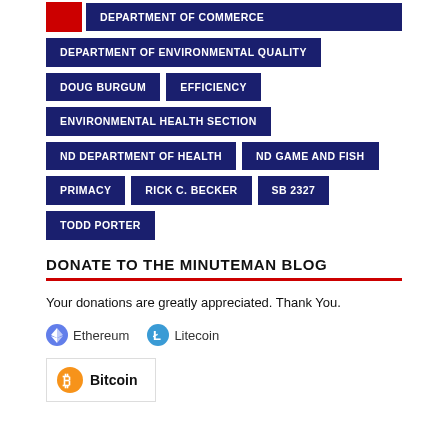DEPARTMENT OF COMMERCE
DEPARTMENT OF ENVIRONMENTAL QUALITY
DOUG BURGUM
EFFICIENCY
ENVIRONMENTAL HEALTH SECTION
ND DEPARTMENT OF HEALTH
ND GAME AND FISH
PRIMACY
RICK C. BECKER
SB 2327
TODD PORTER
DONATE TO THE MINUTEMAN BLOG
Your donations are greatly appreciated. Thank You.
Ethereum  Litecoin
Bitcoin